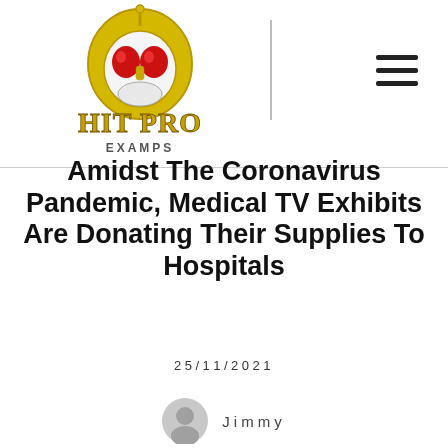[Figure (logo): Hit Pro Examps logo with stylized helmet/mask character and gold ornate text]
Amidst The Coronavirus Pandemic, Medical TV Exhibits Are Donating Their Supplies To Hospitals
25/11/2021
Jimmy